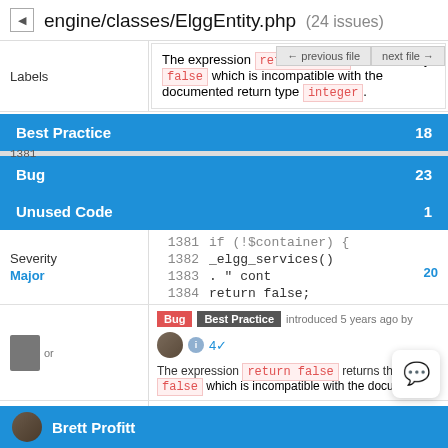engine/classes/ElggEntity.php (24 issues)
The expression return false returns the type false which is incompatible with the documented return type integer.
Labels
Best Practice 18
Bug 23
Unused Code 1
1381
1382    _elgg_services()
Severity
1383    . " cont
1384    return false;
Major 20
Bug Best Practice introduced 5 years ago by
The expression return false returns the type false which is incompatible with the docume
Introduced By
Brett Profitt